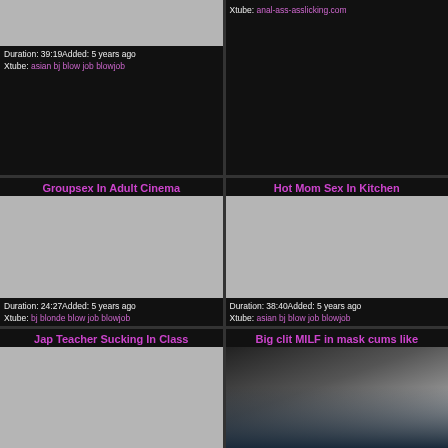[Figure (photo): Top-left video thumbnail (partially visible, cropped at top)]
Duration: 39:19Added: 5 years ago
Xtube: asian bj blow job blowjob
Xtube: anal-ass-asslicking.com
Groupsex In Adult Cinema
Hot Mom Sex In Kitchen
[Figure (photo): Groupsex In Adult Cinema video thumbnail]
[Figure (photo): Hot Mom Sex In Kitchen video thumbnail]
Duration: 24:27Added: 5 years ago
Xtube: bj blonde blow job blowjob
Duration: 38:40Added: 5 years ago
Xtube: asian bj blow job blowjob
Jap Teacher Sucking In Class
Big clit MILF in mask cums like
[Figure (photo): Jap Teacher Sucking In Class thumbnail (partially visible)]
[Figure (photo): Big clit MILF in mask cums like thumbnail (partially visible, shows person)]